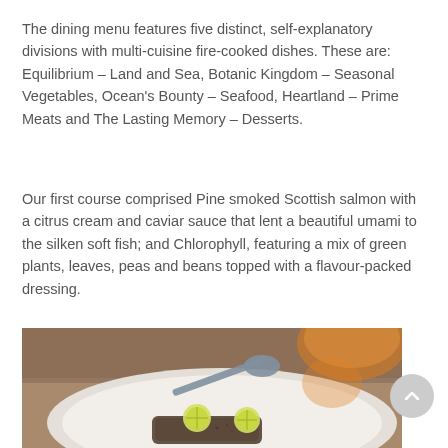The dining menu features five distinct, self-explanatory divisions with multi-cuisine fire-cooked dishes. These are: Equilibrium – Land and Sea, Botanic Kingdom – Seasonal Vegetables, Ocean's Bounty – Seafood, Heartland – Prime Meats and The Lasting Memory – Desserts.
Our first course comprised Pine smoked Scottish salmon with a citrus cream and caviar sauce that lent a beautiful umami to the silken soft fish; and Chlorophyll, featuring a mix of green plants, leaves, peas and beans topped with a flavour-packed dressing.
[Figure (photo): A photo of a white plate with a piece of fish and lime/citrus halves, a metal spoon resting on the plate, and a copper bowl in the background. Warm ambient lighting.]